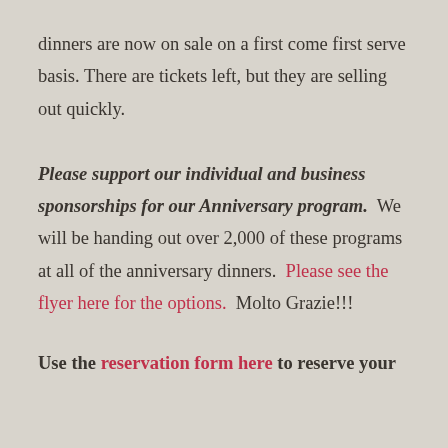dinners are now on sale on a first come first serve basis. There are tickets left, but they are selling out quickly.

Please support our individual and business sponsorships for our Anniversary program. We will be handing out over 2,000 of these programs at all of the anniversary dinners. Please see the flyer here for the options. Molto Grazie!!!
Use the reservation form here to reserve your